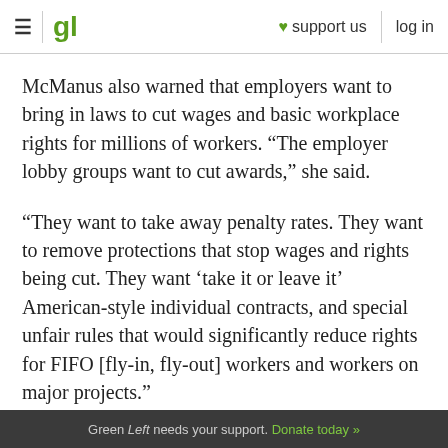≡ | gl ♥ support us log in
McManus also warned that employers want to bring in laws to cut wages and basic workplace rights for millions of workers. “The employer lobby groups want to cut awards,” she said.
“They want to take away penalty rates. They want to remove protections that stop wages and rights being cut. They want ‘take it or leave it’ American-style individual contracts, and special unfair rules that would significantly reduce rights for FIFO [fly-in, fly-out] workers and workers on major projects.”
The ACTU seems to be anticipating a new squeeze
Green Left needs your support. Donate today »